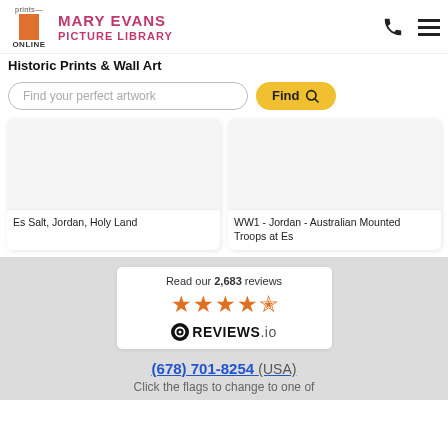Prints Online | Mary Evans Picture Library
Historic Prints & Wall Art
Find your perfect artwork
Es Salt, Jordan, Holy Land
WW1 - Jordan - Australian Mounted Troops at Es
Read our 2,683 reviews
(678) 701-8254 (USA)
Click the flags to change to one of